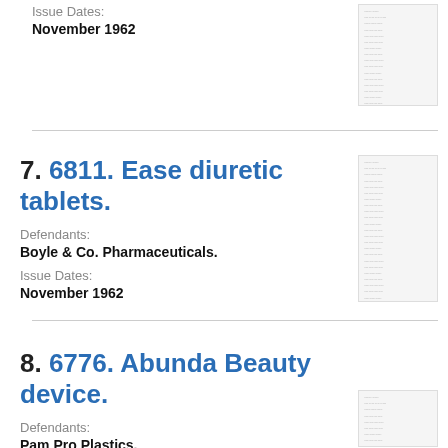Issue Dates:
November 1962
[Figure (screenshot): Thumbnail of a legal document page with dense text]
7. 6811. Ease diuretic tablets.
Defendants:
Boyle & Co. Pharmaceuticals.
Issue Dates:
November 1962
[Figure (screenshot): Thumbnail of a legal document page with dense text]
8. 6776. Abunda Beauty device.
Defendants:
Pam Pro Plastics.
[Figure (screenshot): Thumbnail of a legal document page with dense text]